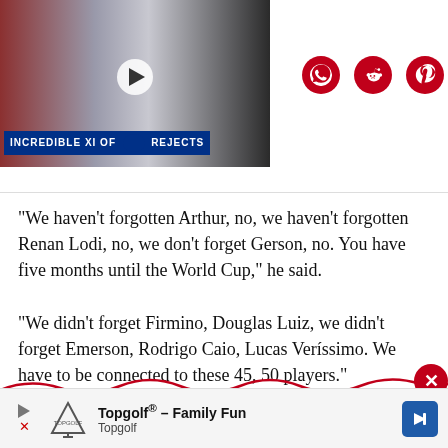[Figure (screenshot): Video thumbnail showing football players with text 'INCREDIBLE XI OF CHELSEA REJECTS' and a play button. Social share icons (WhatsApp, Reddit, Pinterest) visible to the right.]
“We haven’t forgotten Arthur, no, we haven’t forgotten Renan Lodi, no, we don’t forget Gerson, no. You have five months until the World Cup,” he said.
“We didn’t forget Firmino, Douglas Luiz, we didn’t forget Emerson, Rodrigo Caio, Lucas Veríssimo. We have to be connected to these 45, 50 players.”
[Figure (other): Red wavy decorative line with a red circle close/X button on the right side]
[Figure (other): Topgolf advertisement banner: Topgolf logo, text 'Topgolf® - Family Fun Topgolf', blue arrow icon on right]